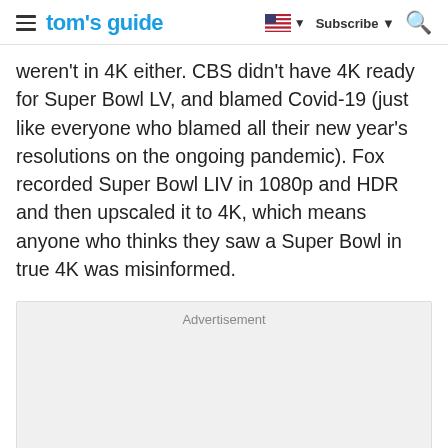tom's guide | Subscribe
weren't in 4K either. CBS didn't have 4K ready for Super Bowl LV, and blamed Covid-19 (just like everyone who blamed all their new year's resolutions on the ongoing pandemic). Fox recorded Super Bowl LIV in 1080p and HDR and then upscaled it to 4K, which means anyone who thinks they saw a Super Bowl in true 4K was misinformed.
[Figure (other): Advertisement placeholder box with grey background]